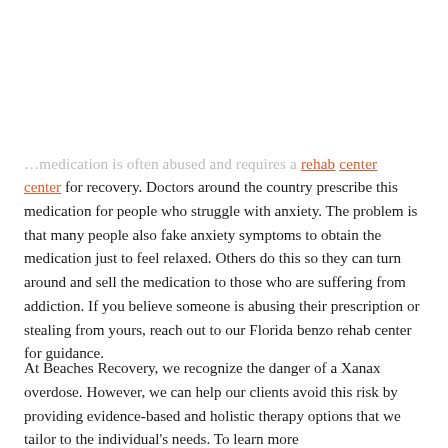…medication is often abused and requires a rehab center for recovery. Doctors around the country prescribe this medication for people who struggle with anxiety. The problem is that many people also fake anxiety symptoms to obtain the medication just to feel relaxed. Others do this so they can turn around and sell the medication to those who are suffering from addiction. If you believe someone is abusing their prescription or stealing from yours, reach out to our Florida benzo rehab center for guidance.
At Beaches Recovery, we recognize the danger of a Xanax overdose. However, we can help our clients avoid this risk by providing evidence-based and holistic therapy options that we tailor to the individual's needs. To learn more